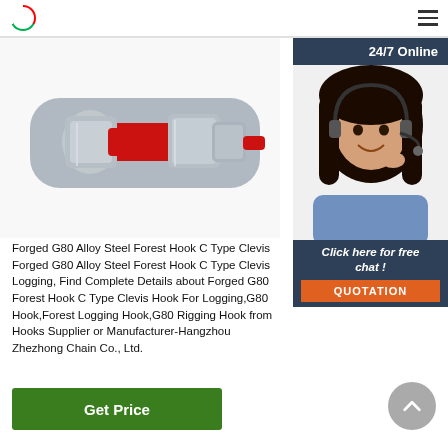Logo and navigation menu
[Figure (photo): Close-up photo of a red and silver Forged G80 Alloy Steel Forest Hook C Type Clevis Hook hardware component]
[Figure (photo): 24/7 Online customer service chat widget showing a smiling woman with headset, with 'Click here for free chat!' text and an orange QUOTATION button]
Forged G80 Alloy Steel Forest Hook C Type Clevis Forged G80 Alloy Steel Forest Hook C Type Clevis Logging, Find Complete Details about Forged G80 Forest Hook C Type Clevis Hook For Logging,G80 Hook,Forest Logging Hook,G80 Rigging Hook from Hooks Supplier or Manufacturer-Hangzhou Zhezhong Chain Co., Ltd.
Get Price